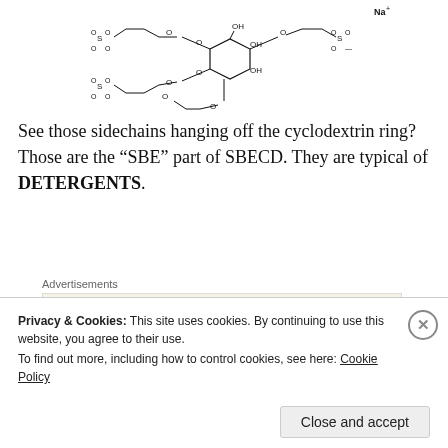[Figure (illustration): Chemical structure diagram of SBECD (sulfobutylether beta-cyclodextrin) showing a cyclodextrin ring with multiple sulfobutyl ether sidechains attached via oxygen linkages, with Na+ counterion shown at top right]
See those sidechains hanging off the cyclodextrin ring? Those are the “SBE” part of SBECD. They are typical of DETERGENTS.
Advertisements
[Figure (other): Advertisement: Professionally designed sites in less than a week — WordPress logo]
REPORT THIS AD
This SBECD stuff and things like it are VERY useful
Privacy & Cookies: This site uses cookies. By continuing to use this website, you agree to their use.
To find out more, including how to control cookies, see here: Cookie Policy
Close and accept